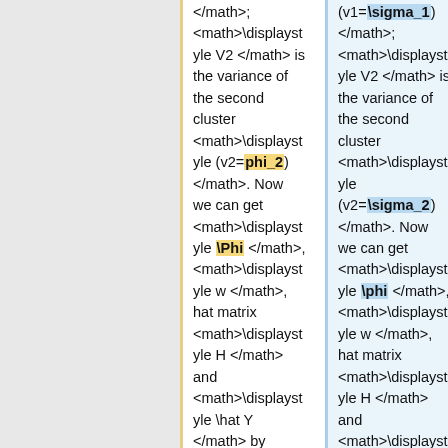</math>; <math>\displaystyle V2 </math> is the variance of the second cluster <math>\displaystyle (v2=\phi_2) </math>. Now we can get <math>\displaystyle \Phi </math>, <math>\displaystyle w </math>, hat matrix <math>\displaystyle H </math> and <math>\displaystyle \hat Y </math> by following equations.
(v1=\sigma_1) </math>; <math>\displaystyle V2 </math> is the variance of the second cluster <math>\displaystyle (v2=\sigma_2) </math>. Now we can get <math>\displaystyle \phi </math>, <math>\displaystyle w </math>, hat matrix <math>\displaystyle H </math> and <math>\displaystyle \hat Y </math> by